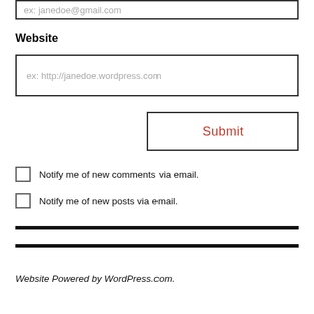ex: janedoe@gmail.com
Website
ex: http://janedoe.wordpress.com
Submit
Notify me of new comments via email.
Notify me of new posts via email.
Website Powered by WordPress.com.